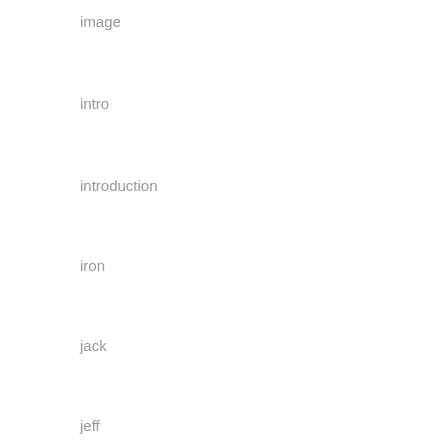image
intro
introduction
iron
jack
jeff
joan
jobo
john
johnny
joker
jurassic
kala
leather